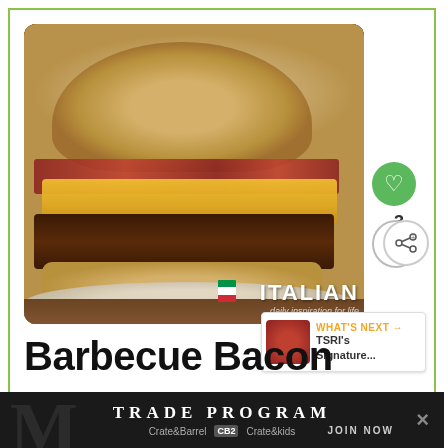[Figure (photo): Close-up photo of a barbecue bacon burger with melted cheese, crispy bacon, red peppers on a round bun, served on a white plate on a wooden surface. ITALIAN watermark with Italian flag visible in the bottom-right corner of the photo.]
[Figure (other): Green circular heart/like button showing a heart icon, with the number 3 below it, and a circular share button below that.]
[Figure (other): What's Next panel showing a thumbnail of food and text reading 'WHAT'S NEXT → TSRI's Signature...']
Barbecue Bacon
[Figure (other): Advertisement banner at the bottom with dark background showing 'TRADE PROGRAM' in large letters, Crate&Barrel, CB2, and Crate&kids logos, 'JOIN NOW' text, and an X close button.]